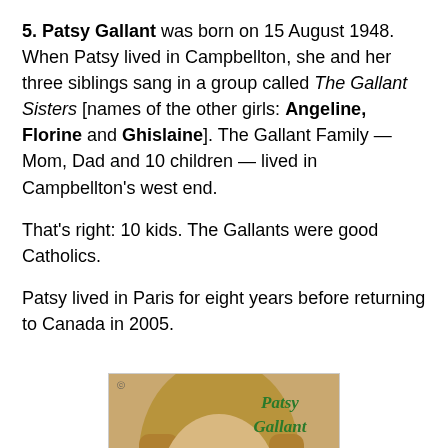5. Patsy Gallant was born on 15 August 1948. When Patsy lived in Campbellton, she and her three siblings sang in a group called The Gallant Sisters [names of the other girls: Angeline, Florine and Ghislaine]. The Gallant Family — Mom, Dad and 10 children — lived in Campbellton's west end.
That's right: 10 kids. The Gallants were good Catholics.
Patsy lived in Paris for eight years before returning to Canada in 2005.
[Figure (photo): Album cover photo of Patsy Gallant showing a young woman with long blonde hair and heavy eye makeup. The text 'Patsy Gallant' appears in green italic script in the upper right corner. A small CBS logo appears in the upper left.]